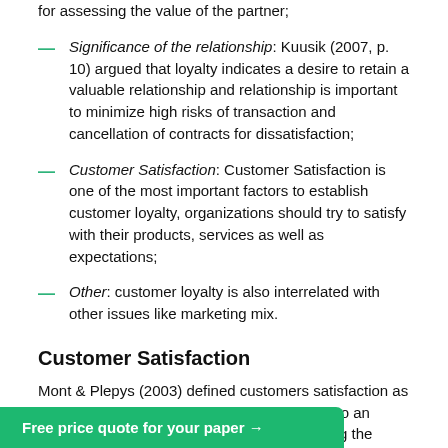for assessing the value of the partner;
Significance of the relationship: Kuusik (2007, p. 10) argued that loyalty indicates a desire to retain a valuable relationship and relationship is important to minimize high risks of transaction and cancellation of contracts for dissatisfaction;
Customer Satisfaction: Customer Satisfaction is one of the most important factors to establish customer loyalty, organizations should try to satisfy with their products, services as well as expectations;
Other: customer loyalty is also interrelated with other issues like marketing mix.
Customer Satisfaction
Mont & Plepys (2003) defined customers satisfaction as a socio-psychological behavior of customers to an organization that has developed by consuming the goods and so far his utility